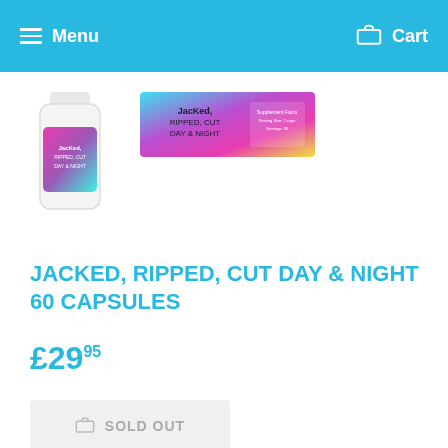Menu  Cart
[Figure (photo): Product image: bottle of Jacked Ripped Cut Day & Night 60 Capsules supplement, white bottle with colorful label]
[Figure (photo): Product label flat view: Jacked Ripped Cut Day & Night, colorful pink/green gradient label]
JACKED, RIPPED, CUT DAY & NIGHT 60 CAPSULES
£29.95
SOLD OUT
BURN FAT NIGHT AND DAY WITH THESE ADVANCED NON